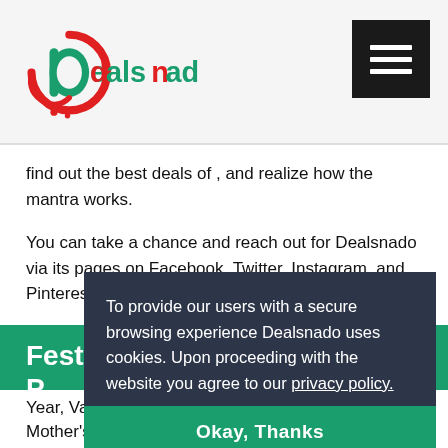[Figure (logo): Dealsnado logo — stylized 'd' icon in red and green with the text 'dealsnado' in green and red]
find out the best deals of , and realize how the mantra works.
You can take a chance and reach out for Dealsnado via its pages on Facebook, Twitter, Instagram, and Pinterest.
Festive Offerings Plus Annual P...
Ev... me... Yo... on... se... fes...
To provide our users with a secure browsing experience Dealsnado uses cookies. Upon proceeding with the website you agree to our privacy policy.
Okay, Thanks
Year, Valentine's Day, Eastertide, Memorial Day, Mother's